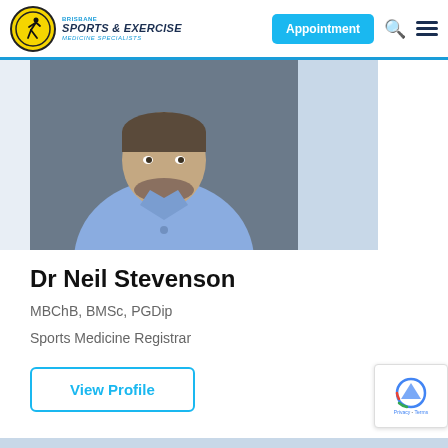Brisbane Sports & Exercise Medicine Specialists
[Figure (photo): Headshot of Dr Neil Stevenson, a man in a blue button-up shirt against a dark background]
Dr Neil Stevenson
MBChB, BMSc, PGDip
Sports Medicine Registrar
View Profile